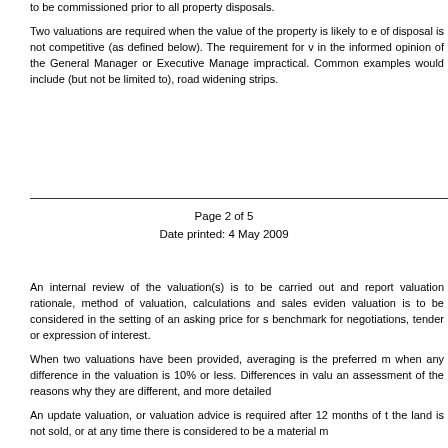to be commissioned prior to all property disposals.

Two valuations are required when the value of the property is likely to e of disposal is not competitive (as defined below). The requirement for v in the informed opinion of the General Manager or Executive Manage impractical. Common examples would include (but not be limited to), road widening strips.
Page 2 of 5
Date printed:  4 May 2009
An internal review of the valuation(s) is to be carried out and report valuation rationale, method of valuation, calculations and sales eviden valuation is to be considered in the setting of an asking price for s benchmark for negotiations, tender or expression of interest.

When two valuations have been provided, averaging is the preferred m when any difference in the valuation is 10% or less. Differences in valu an assessment of the reasons why they are different, and more detailed

An update valuation, or valuation advice is required after 12 months of t the land is not sold, or at any time there is considered to be a material m